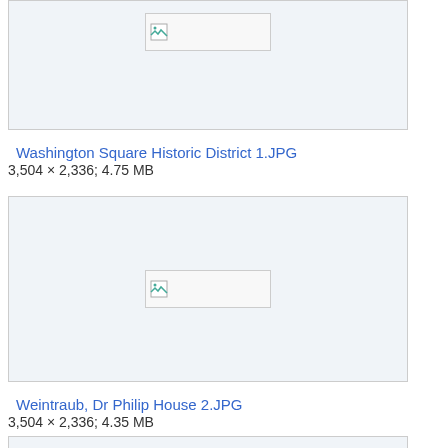[Figure (screenshot): Image thumbnail placeholder box with broken image icon for Washington Square Historic District 1.JPG]
Washington Square Historic District 1.JPG
3,504 × 2,336; 4.75 MB
[Figure (screenshot): Image thumbnail placeholder box with broken image icon for Weintraub, Dr Philip House 2.JPG]
Weintraub, Dr Philip House 2.JPG
3,504 × 2,336; 4.35 MB
[Figure (screenshot): Image thumbnail placeholder box (partial, cut off at bottom of page)]